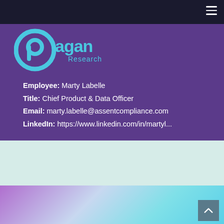Pagan Research — navigation bar with hamburger menu
[Figure (logo): Pagan Research logo: circular 'p' icon in cyan/blue with 'pagan Research' text in light blue]
Employee: Marty Labelle
Title: Chief Product & Data Officer
Email: marty.labelle@assentcompliance.com
LinkedIn: https://www.linkedin.com/in/martyl...
[Figure (other): Light mint/teal colored background section]
[Figure (other): Gradient background section transitioning from purple to cyan]